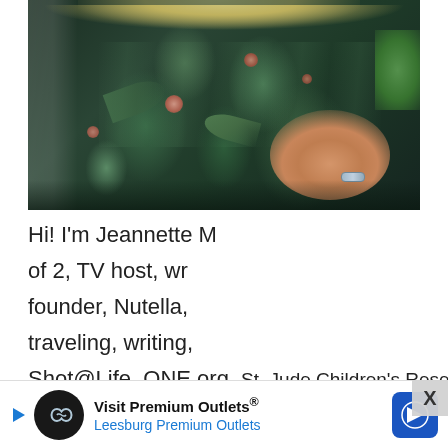[Figure (photo): A woman with curly blonde hair wearing a dark navy/black floral dress with green tropical leaves and pink flowers. She is posing against a white brick wall with a green plant visible on the right. Her arm is visible with a delicate bracelet. Only the torso and arms are visible, no face shown.]
Hi! I'm Jeannette M... of 2, TV host, wr... founder, Nutella, ... traveling, writing, ... Shot@Life, ONE.org, St. Jude Children's Research Hospital, the UN Foundation, and othe...
[Figure (other): Advertisement banner: Visit Premium Outlets® Leesburg Premium Outlets, with infinity logo on black circle and blue navigation arrow icon]